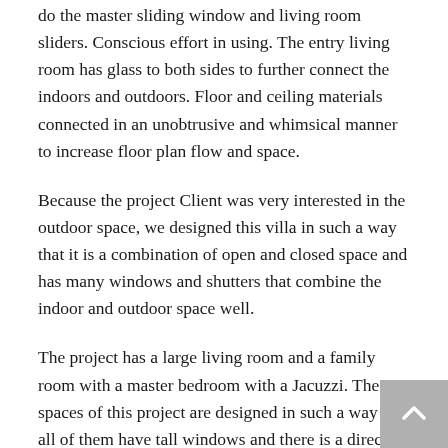do the master sliding window and living room sliders. Conscious effort in using. The entry living room has glass to both sides to further connect the indoors and outdoors. Floor and ceiling materials connected in an unobtrusive and whimsical manner to increase floor plan flow and space.
Because the project Client was very interested in the outdoor space, we designed this villa in such a way that it is a combination of open and closed space and has many windows and shutters that combine the indoor and outdoor space well.
The project has a large living room and a family room with a master bedroom with a Jacuzzi. The spaces of this project are designed in such a way that all of them have tall windows and there is a direct view from the bedroom to the pool inside the yard. There are also three patios at the heart of the plan, where we combined architecture with nature and